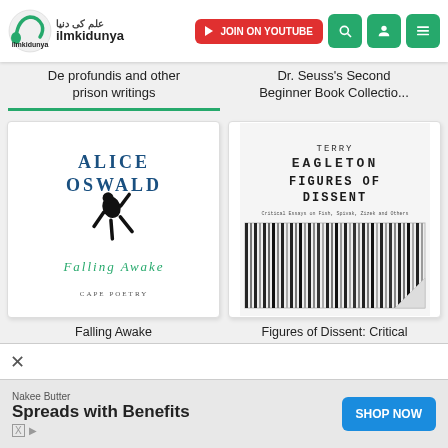ilmkidunya — JOIN ON YOUTUBE
De profundis and other prison writings
Dr. Seuss's Second Beginner Book Collectio...
[Figure (illustration): Book cover: Falling Awake by Alice Oswald — white cover with stylized black figure and text 'Falling Awake', 'CAPE POETRY']
Falling Awake
[Figure (illustration): Book cover: Figures of Dissent by Terry Eagleton — dark striped cover with bold title text]
Figures of Dissent: Critical Essays on Fish Spivak...
Nakee Butter — Spreads with Benefits — SHOP NOW